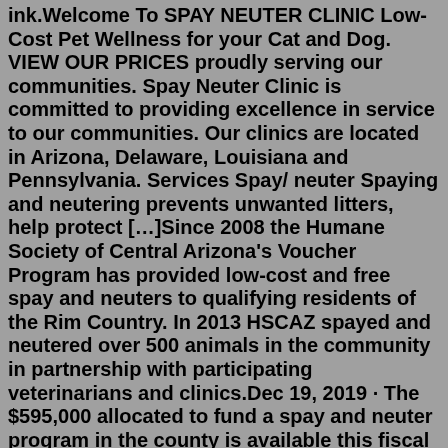ink.Welcome To SPAY NEUTER CLINIC Low-Cost Pet Wellness for your Cat and Dog. VIEW OUR PRICES proudly serving our communities. Spay Neuter Clinic is committed to providing excellence in service to our communities. Our clinics are located in Arizona, Delaware, Louisiana and Pennsylvania. Services Spay/ neuter Spaying and neutering prevents unwanted litters, help protect […]Since 2008 the Humane Society of Central Arizona's Voucher Program has provided low-cost and free spay and neuters to qualifying residents of the Rim Country. In 2013 HSCAZ spayed and neutered over 500 animals in the community in partnership with participating veterinarians and clinics.Dec 19, 2019 · The $595,000 allocated to fund a spay and neuter program in the county is available this fiscal year and in the 2020 year. In addition to the vouchers to launch the program, the county is purchasing surgical equipment for the clinic building at the shelter to get it operational. While the ultimate goal is a full-time vet and technician, the ... Spay/Neuter Saves Lives.